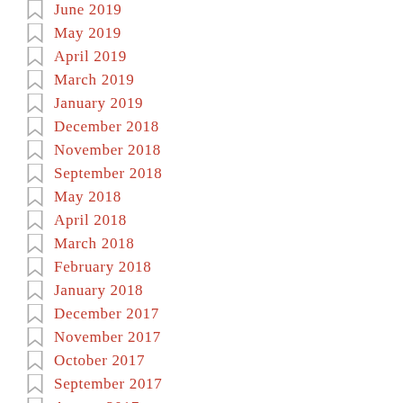June 2019
May 2019
April 2019
March 2019
January 2019
December 2018
November 2018
September 2018
May 2018
April 2018
March 2018
February 2018
January 2018
December 2017
November 2017
October 2017
September 2017
August 2017
July 2017